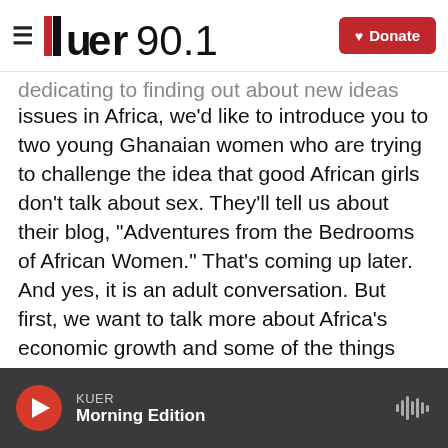KUER 90.1 | Donate
dedicating to finding out about new ideas and issues in Africa, we'd like to introduce you to two young Ghanaian women who are trying to challenge the idea that good African girls don't talk about sex. They'll tell us about their blog, "Adventures from the Bedrooms of African Women." That's coming up later. And yes, it is an adult conversation. But first, we want to talk more about Africa's economic growth and some of the things that might be holding it back. And if you've ever traveled to the continent, you probably noticed that the people serving your food and drinks and
KUER Morning Edition